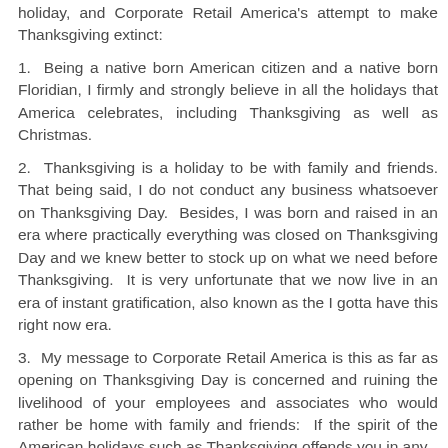holiday, and Corporate Retail America's attempt to make Thanksgiving extinct:
1. Being a native born American citizen and a native born Floridian, I firmly and strongly believe in all the holidays that America celebrates, including Thanksgiving as well as Christmas.
2. Thanksgiving is a holiday to be with family and friends. That being said, I do not conduct any business whatsoever on Thanksgiving Day. Besides, I was born and raised in an era where practically everything was closed on Thanksgiving Day and we knew better to stock up on what we need before Thanksgiving. It is very unfortunate that we now live in an era of instant gratification, also known as the I gotta have this right now era.
3. My message to Corporate Retail America is this as far as opening on Thanksgiving Day is concerned and ruining the livelihood of your employees and associates who would rather be home with family and friends: If the spirit of the American holidays such as Thanksgiving offends you in any